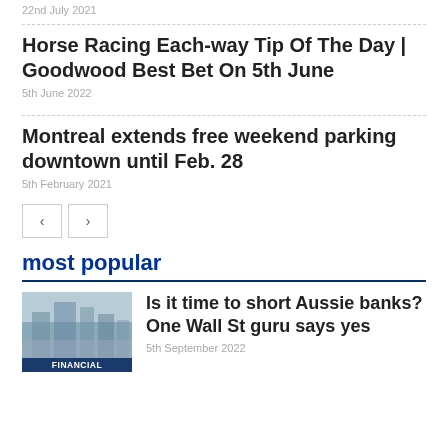22nd July 2021
Horse Racing Each-way Tip Of The Day | Goodwood Best Bet On 5th June
5th June 2022
Montreal extends free weekend parking downtown until Feb. 28
5th February 2021
most popular
Is it time to short Aussie banks? One Wall St guru says yes
5th September 2022